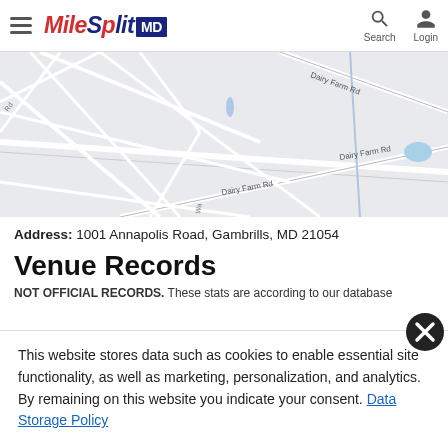MileSplit MD — Search, Login
[Figure (map): Street map showing Dairy Farm Rd area in Gambrills, MD]
Address: 1001 Annapolis Road, Gambrills, MD 21054
Venue Records
NOT OFFICIAL RECORDS. These stats are according to our database
This website stores data such as cookies to enable essential site functionality, as well as marketing, personalization, and analytics. By remaining on this website you indicate your consent. Data Storage Policy